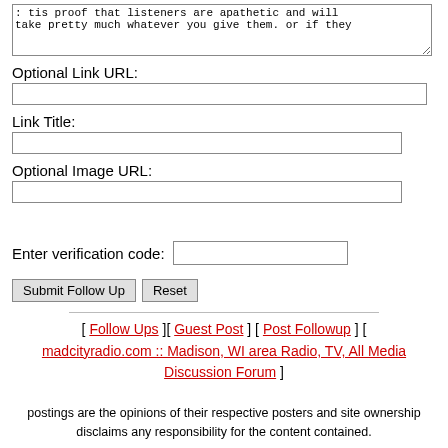: tis proof that listeners are apathetic and will take pretty much whatever you give them. or if they
Optional Link URL:
Link Title:
Optional Image URL:
Enter verification code:
Submit Follow Up   Reset
[ Follow Ups ][ Guest Post ] [ Post Followup ] [ madcityradio.com :: Madison, WI area Radio, TV, All Media Discussion Forum ]
postings are the opinions of their respective posters and site ownership disclaims any responsibility for the content contained.